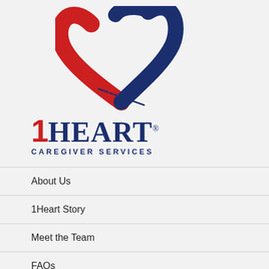[Figure (logo): 1Heart Caregiver Services logo: stylized heart shape formed by a red swoop and a dark blue swoop, with a needle/pen accent line below]
1Heart® CAREGIVER SERVICES
About Us
1Heart Story
Meet the Team
FAQs
Contact Us
Privacy Policy